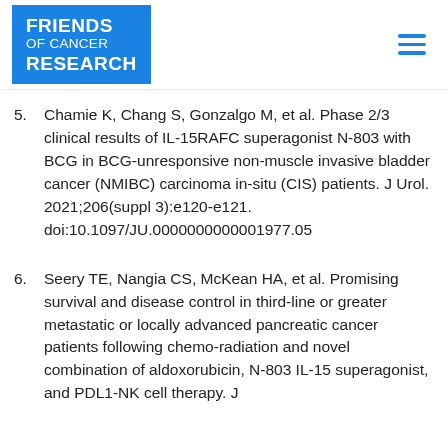Friends of Cancer Research
5. Chamie K, Chang S, Gonzalgo M, et al. Phase 2/3 clinical results of IL-15RAFC superagonist N-803 with BCG in BCG-unresponsive non-muscle invasive bladder cancer (NMIBC) carcinoma in-situ (CIS) patients. J Urol. 2021;206(suppl 3):e120-e121. doi:10.1097/JU.0000000000001977.05
6. Seery TE, Nangia CS, McKean HA, et al. Promising survival and disease control in third-line or greater metastatic or locally advanced pancreatic cancer patients following chemo-radiation and novel combination of aldoxorubicin, N-803 IL-15 superagonist, and PDL1-NK cell therapy. J...